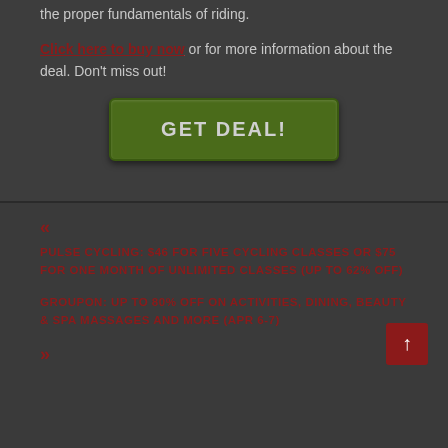the proper fundamentals of riding.
Click here to buy now or for more information about the deal. Don't miss out!
[Figure (other): Green 'GET DEAL!' button]
«
PULSE CYCLING: $46 FOR FIVE CYCLING CLASSES OR $75 FOR ONE MONTH OF UNLIMITED CLASSES (UP TO 62% OFF)
GROUPON: UP TO 80% OFF ON ACTIVITIES, DINING, BEAUTY & SPA MASSAGES AND MORE (APR 6-7)
»